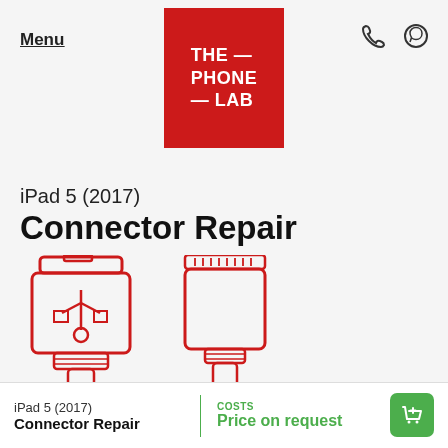Menu | THE PHONE LAB
iPad 5 (2017)
Connector Repair
[Figure (illustration): Red outline illustration of two USB/Lightning connector cables on a light gray background]
iPad 5 (2017) Connector Repair | COSTS: Price on request